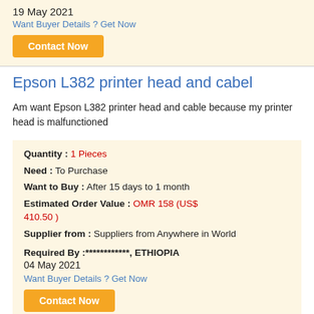19 May 2021
Want Buyer Details ? Get Now
Contact Now
Epson L382 printer head and cabel
Am want Epson L382 printer head and cable because my printer head is malfunctioned
Quantity : 1 Pieces
Need : To Purchase
Want to Buy : After 15 days to 1 month
Estimated Order Value : OMR 158 (US$ 410.50 )
Supplier from : Suppliers from Anywhere in World
Required By :************, ETHIOPIA
04 May 2021
Want Buyer Details ? Get Now
Contact Now
Printer BBP12 EU with Unwinder +BWS LABS Suite
Part Number: 306866 Manufacturer: BRADY 3 Years Manufacturer warranty | We are based in d...